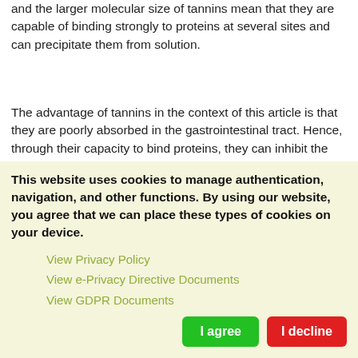and the larger molecular size of tannins mean that they are capable of binding strongly to proteins at several sites and can precipitate them from solution.
The advantage of tannins in the context of this article is that they are poorly absorbed in the gastrointestinal tract. Hence, through their capacity to bind proteins, they can inhibit the growth of micro-organisms, especially in the colon. One of the most notable effects of tannins in the gut is their dramatic effect on diarrhea. It can be proposed that the effect of tannins is to produce a protective (if temporary) layer of coagulated protein on the mucosa
This website uses cookies to manage authentication, navigation, and other functions. By using our website, you agree that we can place these types of cookies on your device.
View Privacy Policy
View e-Privacy Directive Documents
View GDPR Documents